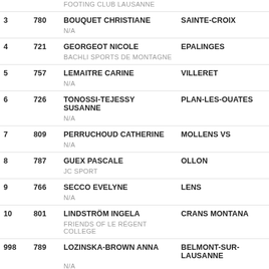| Rank | Bib | Name | City |
| --- | --- | --- | --- |
|  |  | FOOTING CLUB LAUSANNE |  |
| 3 | 780 | BOUQUET CHRISTIANE | SAINTE-CROIX |
|  |  | N/A |  |
| 4 | 721 | GEORGEOT NICOLE | EPALINGES |
|  |  | BACHLI SPORTS DE MONTAGNE |  |
| 5 | 757 | LEMAITRE CARINE | VILLERET |
|  |  | N/A |  |
| 6 | 726 | TONOSSI-TEJESSY SUSANNE | PLAN-LES-OUATES |
|  |  | N/A |  |
| 7 | 809 | PERRUCHOUD CATHERINE | MOLLENS VS |
|  |  | N/A |  |
| 8 | 787 | GUEX PASCALE | OLLON |
|  |  | JC SPORT |  |
| 9 | 766 | SECCO EVELYNE | LENS |
|  |  | N/A |  |
| 10 | 801 | LINDSTRÖM INGELA | CRANS MONTANA |
|  |  | FRIENDS OF LE RÉGENT COLLEGE |  |
| 998 | 789 | LOZINSKA-BROWN ANNA | BELMONT-SUR-LAUSANNE |
|  |  | N/A |  |